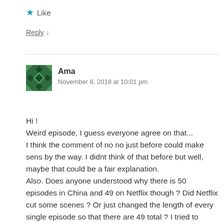★ Like
Reply ↓
Ama
November 8, 2018 at 10:01 pm
Hi !
Weird episode, I guess everyone agree on that...
I think the comment of no no just before could make sens by the way. I didnt think of that before but well, maybe that could be a fair explanation.
Also. Does anyone understood why there is 50 episodes in China and 49 on Netflix though ? Did Netflix cut some scenes ? Or just changed the length of every single episode so that there are 49 total ? I tried to compare the last episode with